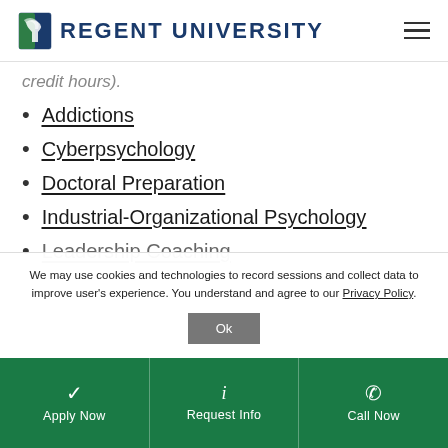Regent University
credit hours).
Addictions
Cyberpsychology
Doctoral Preparation
Industrial-Organizational Psychology
Leadership Coaching
We may use cookies and technologies to record sessions and collect data to improve user's experience. You understand and agree to our Privacy Policy.
Apply Now | Request Info | Call Now